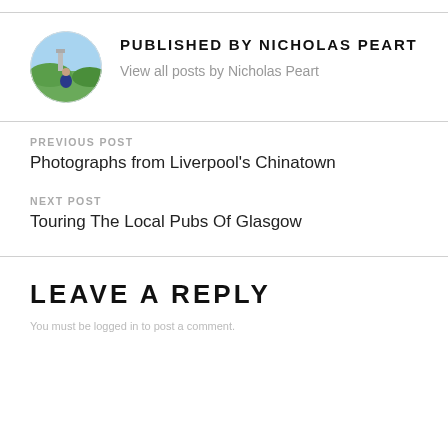[Figure (photo): Circular avatar photo of Nicholas Peart, showing a person outdoors with a scenic background.]
PUBLISHED BY NICHOLAS PEART
View all posts by Nicholas Peart
PREVIOUS POST
Photographs from Liverpool's Chinatown
NEXT POST
Touring The Local Pubs Of Glasgow
LEAVE A REPLY
You must be logged in to post a comment.